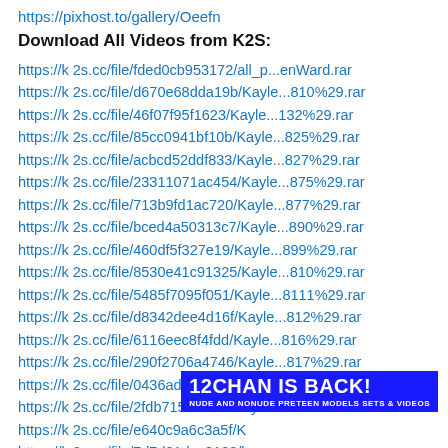https://pixhost.to/gallery/Oeefn
Download All Videos from K2S:
https://k2s.cc/file/fded0cb953172/all_p...enWard.rar
https://k2s.cc/file/d670e68dda19b/Kayle...810%29.rar
https://k2s.cc/file/46f07f95f1623/Kayle...132%29.rar
https://k2s.cc/file/85cc0941bf10b/Kayle...825%29.rar
https://k2s.cc/file/acbcd52ddf833/Kayle...827%29.rar
https://k2s.cc/file/23311071ac454/Kayle...875%29.rar
https://k2s.cc/file/713b9fd1ac720/Kayle...877%29.rar
https://k2s.cc/file/bced4a50313c7/Kayle...890%29.rar
https://k2s.cc/file/460df5f327e19/Kayle...899%29.rar
https://k2s.cc/file/8530e41c91325/Kayle...810%29.rar
https://k2s.cc/file/5485f7095f051/Kayle...8111%29.rar
https://k2s.cc/file/d8342dee4d16f/Kayle...812%29.rar
https://k2s.cc/file/6116eec8f4fdd/Kayle...816%29.rar
https://k2s.cc/file/290f2706a4746/Kayle...817%29.rar
https://k2s.cc/file/0436ad37236e6/Kayle...818%29.rar
https://k2s.cc/file/2fdb715f2ac16/Kayle...819%29.rar
https://k2s.cc/file/e640c9a6c3a5f/K...
https://k2s.cc/file/7d7d21dec3128/h...
https://k2s.cc/file/d2346f0884757/Kayle...827%29.rar